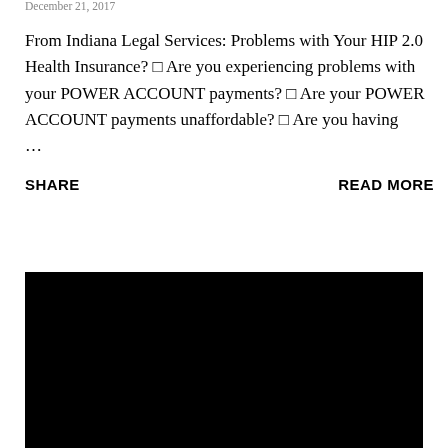December 21, 2017
From Indiana Legal Services: Problems with Your HIP 2.0 Health Insurance? □ Are you experiencing problems with your POWER ACCOUNT payments? □ Are your POWER ACCOUNT payments unaffordable? □ Are you having ...
SHARE
READ MORE
[Figure (photo): Black rectangular image block, content not visible]